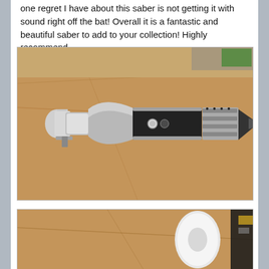one regret I have about this saber is not getting it with sound right off the bat! Overall it is a fantastic and beautiful saber to add to your collection! Highly recommend.
[Figure (photo): Photo of a lightsaber hilt with silver and black metallic finish lying on a brown cardboard surface. The handle has a cylindrical silver emitter on the left, a curved black grip section with two silver buttons, and ribbed fins near the pointed pommel end on the right.]
[Figure (photo): Partial photo showing the bottom portion of a second image, featuring brown cardboard background with a white cylindrical object and dark items visible at the right edge.]